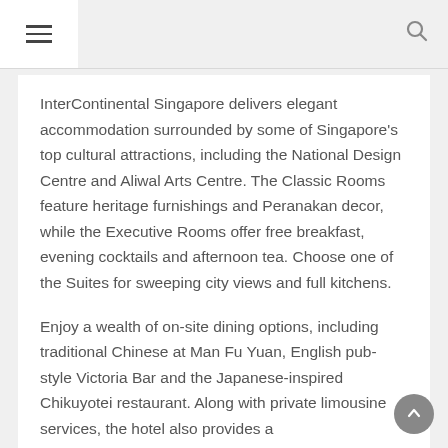≡  🔍
InterContinental Singapore delivers elegant accommodation surrounded by some of Singapore's top cultural attractions, including the National Design Centre and Aliwal Arts Centre. The Classic Rooms feature heritage furnishings and Peranakan decor, while the Executive Rooms offer free breakfast, evening cocktails and afternoon tea. Choose one of the Suites for sweeping city views and full kitchens.
Enjoy a wealth of on-site dining options, including traditional Chinese at Man Fu Yuan, English pub-style Victoria Bar and the Japanese-inspired Chikuyotei restaurant. Along with private limousine services, the hotel also provides a